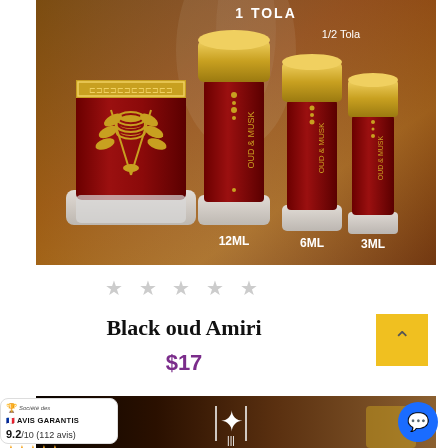[Figure (photo): Product photo showing Oud & Musk perfume oil bottles in various sizes: a large decorative bottle on the left, and three smaller bottles labeled 1 Tola (12ML), 1/2 Tola (6ML), and 3ML, all with dark red glass bodies and gold caps, set against a warm wooden background.]
★ ★ ★ ★ ★
Black oud Amiri
$17
[Figure (photo): Partial product image at the bottom showing a dark wooden/oud background with a decorative white ornament in the center and a golden bottle partially visible on the right, along with an Avis Garantis trust badge on the left and a blue chat bubble icon on the right.]